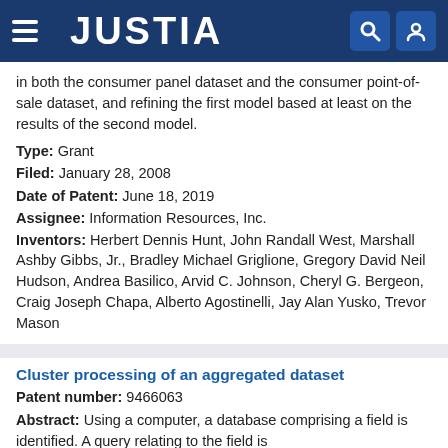JUSTIA
in both the consumer panel dataset and the consumer point-of-sale dataset, and refining the first model based at least on the results of the second model.
Type: Grant
Filed: January 28, 2008
Date of Patent: June 18, 2019
Assignee: Information Resources, Inc.
Inventors: Herbert Dennis Hunt, John Randall West, Marshall Ashby Gibbs, Jr., Bradley Michael Griglione, Gregory David Neil Hudson, Andrea Basilico, Arvid C. Johnson, Cheryl G. Bergeon, Craig Joseph Chapa, Alberto Agostinelli, Jay Alan Yusko, Trevor Mason
Cluster processing of an aggregated dataset
Patent number: 9466063
Abstract: Using a computer, a database comprising a field is identified. A query relating to the field is